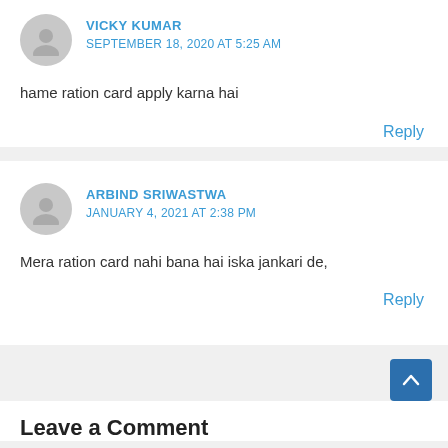VICKY KUMAR
SEPTEMBER 18, 2020 AT 5:25 AM
hame ration card apply karna hai
Reply
ARBIND SRIWASTWA
JANUARY 4, 2021 AT 2:38 PM
Mera ration card nahi bana hai iska jankari de,
Reply
Leave a Comment